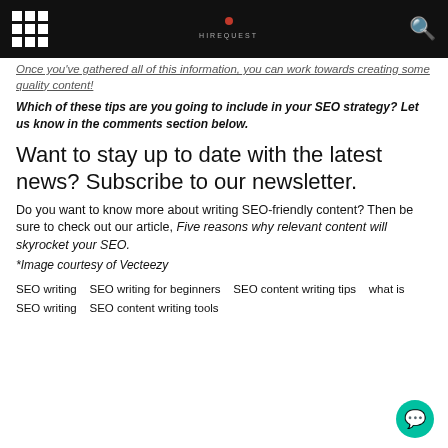[navigation bar with grid icon, logo, and search]
Once you've gathered all of this information, you can work towards creating some quality content!
Which of these tips are you going to include in your SEO strategy? Let us know in the comments section below.
Want to stay up to date with the latest news? Subscribe to our newsletter.
Do you want to know more about writing SEO-friendly content? Then be sure to check out our article, Five reasons why relevant content will skyrocket your SEO.
*Image courtesy of Vecteezy
SEO writing   SEO writing for beginners   SEO content writing tips   what is SEO writing   SEO content writing tools